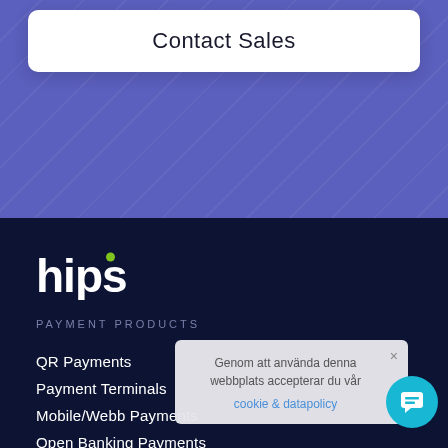[Figure (screenshot): Blue background section with geometric triangle pattern]
Contact Sales
[Figure (logo): Hips logo — white text with green dot on letter i, on dark navy background]
PAYMENT PRODUCTS
QR Payments
Payment Terminals
Mobile/Webb Payments
Open Banking Payments
Card Issuing
PayFac
Payment Gateway
Genom att använda denna webbplats accepterar du vår cookie & datapolicy